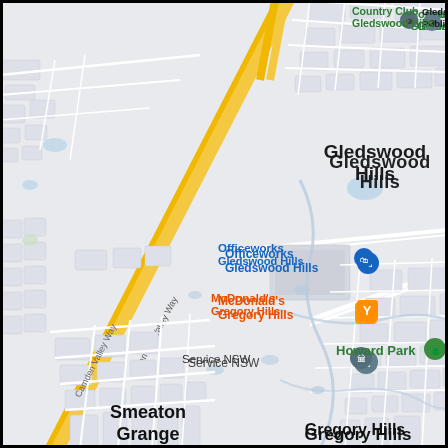[Figure (map): Google Maps screenshot showing the suburbs of Gledswood Hills, Gregory Hills, and Smeaton Grange in New South Wales, Australia. Features Camden Valley Way (yellow highway) running diagonally, with labeled POIs including Country Club Gledswood Hills, Gledswood Hills Public School, Officeworks Gledswood Hills, McDonald's Gregory Hills, Service NSW, Howard Park, and a green location pin at Smeaton Grange. Residential street networks shown in white/light gray on a gray background with blue waterways.]